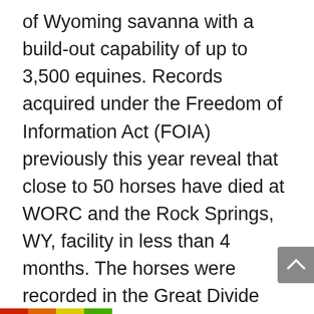of Wyoming savanna with a build-out capability of up to 3,500 equines. Records acquired under the Freedom of Information Act (FOIA) previously this year reveal that close to 50 horses have died at WORC and the Rock Springs, WY, facility in less than 4 months. The horses were recorded in the Great Divide Basin summary, which occurred in between October as well as November of in 2014.. A BLM February 2022 record shows that Wyoming's wild equine and also burro holding centers are nearly complete after the mass Checkerboard summary. According to popular wild animals digital photographer Carol Walker,